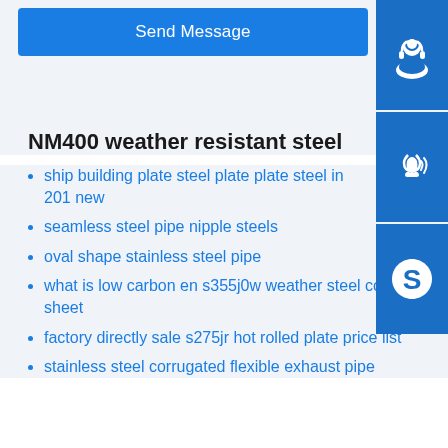Send Message
[Figure (illustration): Blue headset/support agent icon on dark blue square button]
[Figure (illustration): Blue phone with signal waves icon on dark blue square button]
[Figure (illustration): Skype logo icon on dark blue square button]
NM400 weather resistant steel
ship building plate steel plate plate steel in 201 new
seamless steel pipe nipple steels
oval shape stainless steel pipe
what is low carbon en s355j0w weather steel corten sheet
factory directly sale s275jr hot rolled plate price list
stainless steel corrugated flexible exhaust pipe